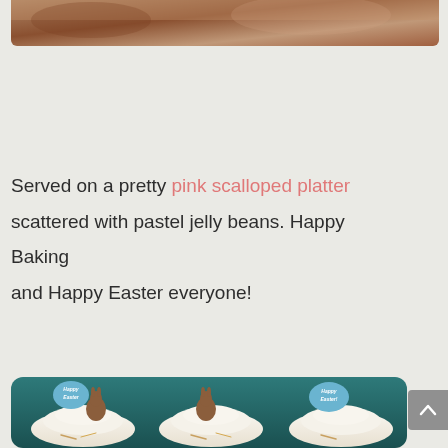[Figure (photo): Partial top view of a food dish on a platter, cropped at the top of the page]
Served on a pretty pink scalloped platter scattered with pastel jelly beans. Happy Baking and Happy Easter everyone!
[Figure (photo): Easter cupcakes decorated with whipped frosting, toasted coconut shreds, and paper cutout toppers of brown bunnies and blue oval 'Happy Easter' signs]